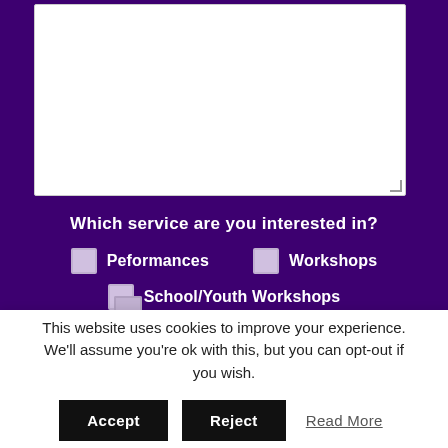[Figure (screenshot): A large white textarea input field on a purple background, partially shown at top of page]
Which service are you interested in?
Peformances (checkbox)
Workshops (checkbox)
School/Youth Workshops (checkbox)
This website uses cookies to improve your experience. We'll assume you're ok with this, but you can opt-out if you wish.
Accept  Reject  Read More